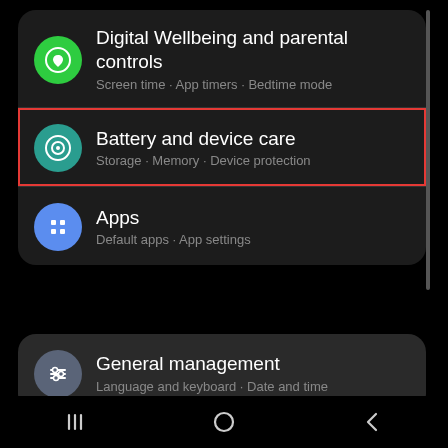[Figure (screenshot): Android Settings screen showing menu items: Digital Wellbeing and parental controls (Screen time · App timers · Bedtime mode), Battery and device care (Storage · Memory · Device protection) highlighted with a red box, Apps (Default apps · App settings), and General management (Language and keyboard · Date and time). Navigation bar at bottom with Recent, Home, Back buttons.]
2. Go to the settings and locate the 'Battery and device care'